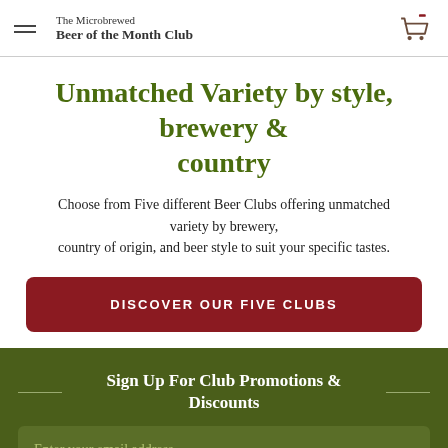The Microbrewed Beer of the Month Club
Unmatched Variety by style, brewery & country
Choose from Five different Beer Clubs offering unmatched variety by brewery, country of origin, and beer style to suit your specific tastes.
DISCOVER OUR FIVE CLUBS
Sign Up For Club Promotions & Discounts
Enter your email address